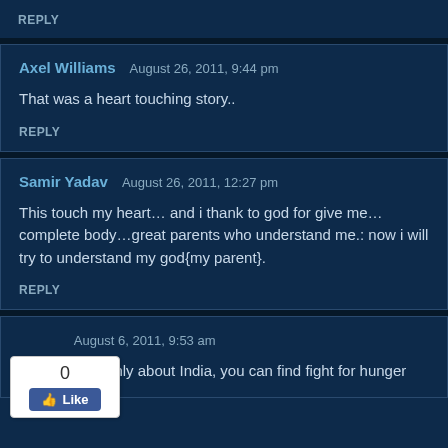REPLY
Axel Williams   August 26, 2011, 9:44 pm
That was a heart touching story..
REPLY
Samir Yadav   August 26, 2011, 12:27 pm
This touch my heart… and i thank to god for give me… complete body…great parents who understand me.: now i will try to understand my god{my parent}.
REPLY
August 6, 2011, 9:53 am
…out it's not only about India, you can find fight for hunger